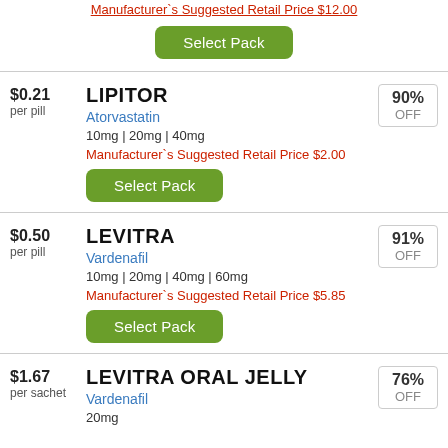Manufacturer`s Suggested Retail Price $12.00
Select Pack
$0.21 per pill
LIPITOR
Atorvastatin
10mg | 20mg | 40mg
Manufacturer`s Suggested Retail Price $2.00
Select Pack
90% OFF
$0.50 per pill
LEVITRA
Vardenafil
10mg | 20mg | 40mg | 60mg
Manufacturer`s Suggested Retail Price $5.85
Select Pack
91% OFF
$1.67 per sachet
LEVITRA ORAL JELLY
Vardenafil
20mg
76% OFF